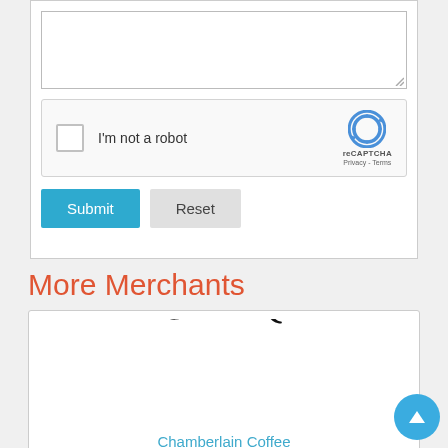[Figure (screenshot): Textarea input box (form element), partially visible at top of page]
[Figure (screenshot): reCAPTCHA widget with checkbox labeled I'm not a robot, reCAPTCHA logo, Privacy and Terms links]
[Figure (screenshot): Submit button (blue) and Reset button (grey)]
More Merchants
[Figure (logo): Chamberlain Coffee arched logo in black serif text]
Chamberlain Coffee